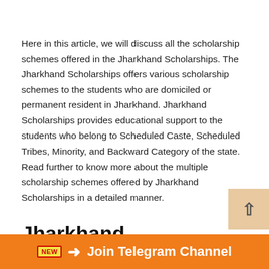Here in this article, we will discuss all the scholarship schemes offered in the Jharkhand Scholarships. The Jharkhand Scholarships offers various scholarship schemes to the students who are domiciled or permanent resident in Jharkhand. Jharkhand Scholarships provides educational support to the students who belong to Scheduled Caste, Scheduled Tribes, Minority, and Backward Category of the state. Read further to know more about the multiple scholarship schemes offered by Jharkhand Scholarships in a detailed manner.
Jharkhand Scholarships: